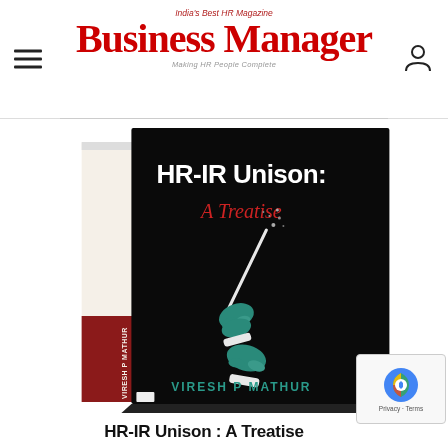India's Best HR Magazine — Business Manager — Making HR People Complete
[Figure (photo): Book cover of 'HR-IR Unison: A Treatise' by Viresh P Mathur. Black cover with teal-colored hands holding a conductor's baton, title in white bold text, subtitle in red italic, author name at bottom in teal.]
HR-IR Unison : A Treatise